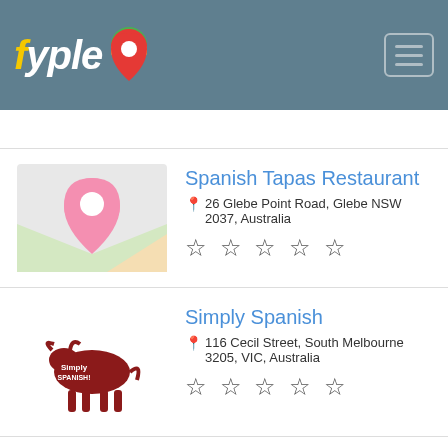fyple
Spanish Tapas Restaurant
26 Glebe Point Road, Glebe NSW 2037, Australia
☆☆☆☆☆
Simply Spanish
116 Cecil Street, South Melbourne 3205, VIC, Australia
☆☆☆☆☆
Robert Burns Hotel
376 Smith Street, Collingwood VIC 3066, Australia
☆☆☆☆☆